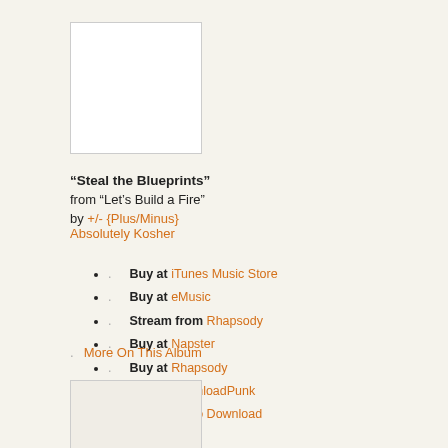[Figure (illustration): Album art placeholder - white rectangle with border, top]
“Steal the Blueprints”
from “Let’s Build a Fire”
by +/- {Plus/Minus} Absolutely Kosher
Buy at iTunes Music Store
Buy at eMusic
Stream from Rhapsody
Buy at Napster
Buy at Rhapsody
Buy at DownloadPunk
Buy at Navio Download
More On This Album
[Figure (illustration): Album art placeholder - light rectangle with border, bottom]